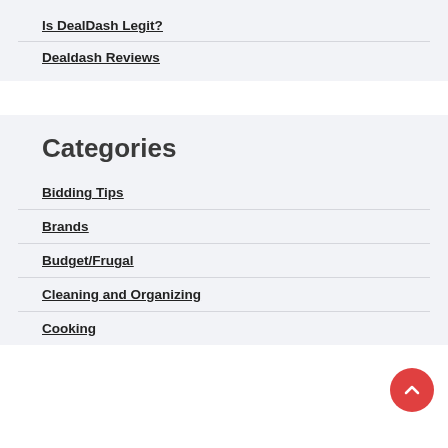Is DealDash Legit?
Dealdash Reviews
Categories
Bidding Tips
Brands
Budget/Frugal
Cleaning and Organizing
Cooking